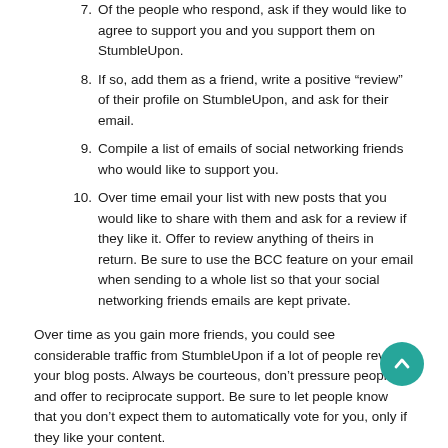7. Of the people who respond, ask if they would like to agree to support you and you support them on StumbleUpon.
8. If so, add them as a friend, write a positive “review” of their profile on StumbleUpon, and ask for their email.
9. Compile a list of emails of social networking friends who would like to support you.
10. Over time email your list with new posts that you would like to share with them and ask for a review if they like it. Offer to review anything of theirs in return. Be sure to use the BCC feature on your email when sending to a whole list so that your social networking friends emails are kept private.
Over time as you gain more friends, you could see considerable traffic from StumbleUpon if a lot of people review your blog posts. Always be courteous, don’t pressure people, and offer to reciprocate support. Be sure to let people know that you don’t expect them to automatically vote for you, only if they like your content.
14. Learning More About Blogging, WordPress, and Making Money.
All these steps take time, but if you are persistent and write good content, you